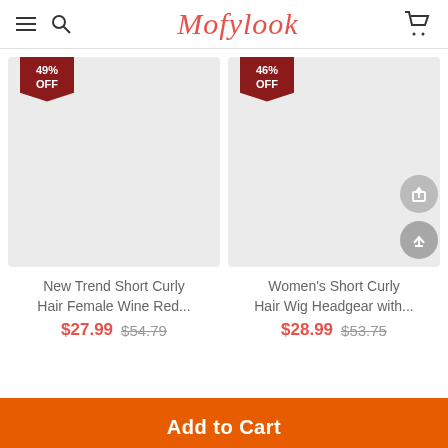Mofylook
[Figure (photo): Product image placeholder for New Trend Short Curly Hair Female Wine Red with 49% OFF badge]
New Trend Short Curly Hair Female Wine Red...
$27.99  $54.79
[Figure (photo): Product image placeholder for Women's Short Curly Hair Wig Headgear with 46% OFF badge]
Women's Short Curly Hair Wig Headgear with...
$28.99  $53.75
Add to Cart